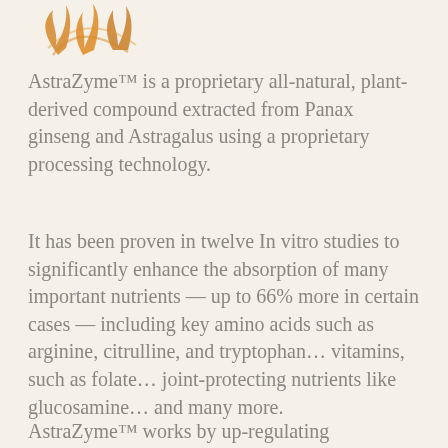[Figure (logo): AstraZyme brand logo — stylized orange/gold flame or plant motif graphic]
AstraZyme™ is a proprietary all-natural, plant-derived compound extracted from Panax ginseng and Astragalus using a proprietary processing technology.
It has been proven in twelve In vitro studies to significantly enhance the absorption of many important nutrients — up to 66% more in certain cases — including key amino acids such as arginine, citrulline, and tryptophan... vitamins, such as folate... joint-protecting nutrients like glucosamine... and many more.
AstraZyme™ works by up-regulating